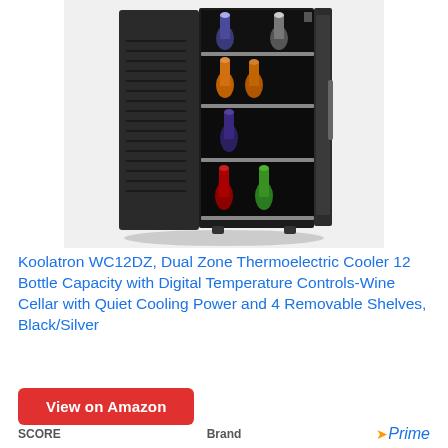[Figure (photo): A Koolatron WC12DZ dual zone thermoelectric wine cooler with open door showing wine bottles on shelves, black exterior]
Koolatron WC12DZ, Dual Zone Thermoelectric Cooler 12 Bottle Capacity with Digital Temperature Controls-Wine Cellar with Quiet Cooling Power and 4 Removable Shelves, Black/Silver
View on Amazon
SCORE
Brand
Prime